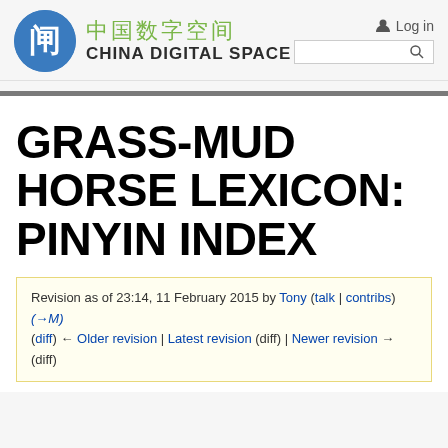中国数字空间 CHINA DIGITAL SPACE — Log in
GRASS-MUD HORSE LEXICON: PINYIN INDEX
Revision as of 23:14, 11 February 2015 by Tony (talk | contribs) (→M)
(diff) ← Older revision | Latest revision (diff) | Newer revision → (diff)